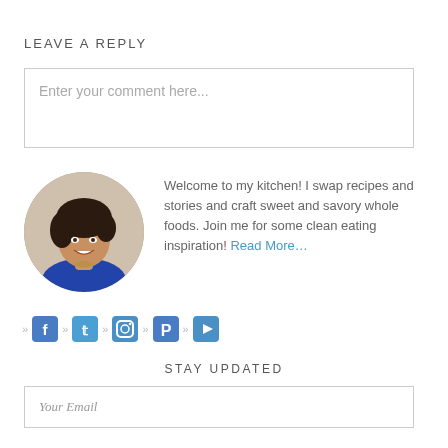LEAVE A REPLY
Enter your comment here...
[Figure (photo): Circular portrait photo of a smiling woman with dark curly hair wearing a blue top]
Welcome to my kitchen! I swap recipes and stories and craft sweet and savory whole foods. Join me for some clean eating inspiration! Read More…
[Figure (infographic): Social media icons row: Facebook, Twitter, Instagram, Pinterest, YouTube with chevron separators]
STAY UPDATED
Your Email